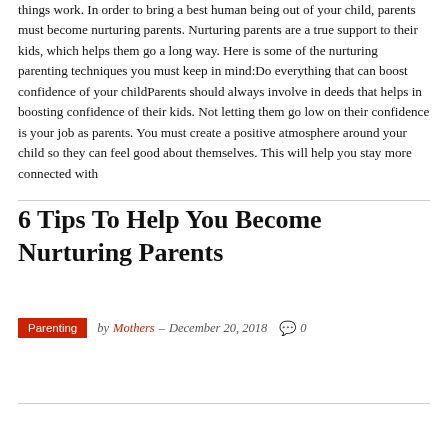things work. In order to bring a best human being out of your child, parents must become nurturing parents. Nurturing parents are a true support to their kids, which helps them go a long way. Here is some of the nurturing parenting techniques you must keep in mind:Do everything that can boost confidence of your childParents should always involve in deeds that helps in boosting confidence of their kids. Not letting them go low on their confidence is your job as parents. You must create a positive atmosphere around your child so they can feel good about themselves. This will help you stay more connected with
6 Tips To Help You Become Nurturing Parents
Parenting  by Mothers – December 20, 2018  0